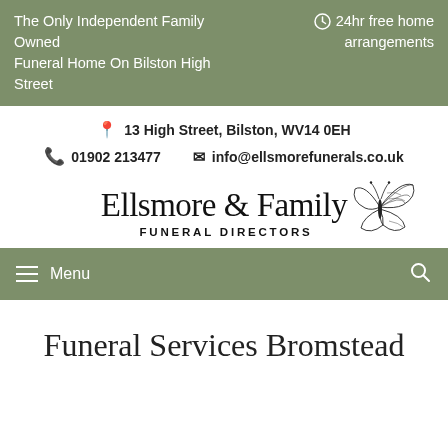The Only Independent Family Owned Funeral Home On Bilston High Street | 24hr free home arrangements
13 High Street, Bilston, WV14 0EH | 01902 213477 | info@ellsmorefunerals.co.uk
[Figure (logo): Ellsmore & Family Funeral Directors logo with butterfly illustration]
Menu
Funeral Services Bromstead